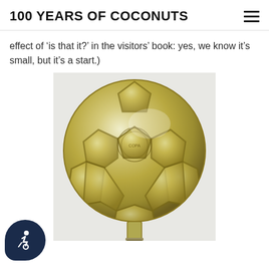100 YEARS OF COCONUTS
effect of ‘is that it?’ in the visitors’ book: yes, we know it’s small, but it’s a start.)
[Figure (photo): A shiny gold/silver trophy in the shape of a soccer ball on a metal post, photographed close-up showing hexagonal panel details and a crest/emblem reflected in the center panel.]